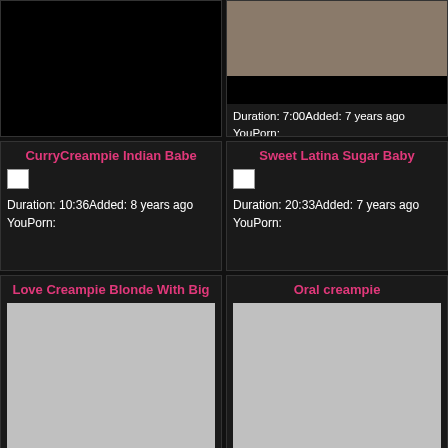[Figure (screenshot): Black placeholder panel top left]
[Figure (screenshot): Video thumbnail top right with dark bar overlay]
Duration: 7:00Added: 7 years ago YouPorn:
CurryCreampie Indian Babe
[Figure (photo): Broken image icon]
Duration: 10:36Added: 8 years ago YouPorn:
Sweet Latina Sugar Baby
[Figure (photo): Broken image icon]
Duration: 20:33Added: 7 years ago YouPorn:
Love Creampie Blonde With Big
[Figure (photo): Grey placeholder thumbnail]
Oral creampie
[Figure (photo): Grey placeholder thumbnail]